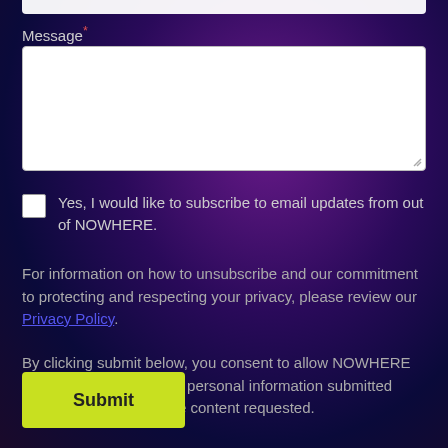Message*
[Figure (screenshot): Empty white textarea input field for a message]
Yes, I would like to subscribe to email updates from out of NOWHERE.
For information on how to unsubscribe and our commitment to protecting and respecting your privacy, please review our Privacy Policy.
By clicking submit below, you consent to allow NOWHERE to store and process the personal information submitted above to provide you the content requested.
Submit